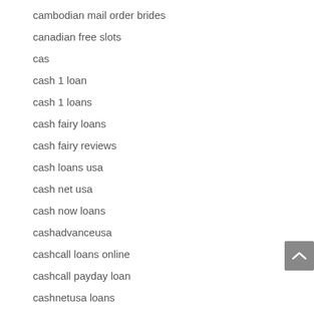cambodian mail order brides
canadian free slots
cas
cash 1 loan
cash 1 loans
cash fairy loans
cash fairy reviews
cash loans usa
cash net usa
cash now loans
cashadvanceusa
cashcall loans online
cashcall payday loan
cashnetusa loans
cashnetusa payday loan